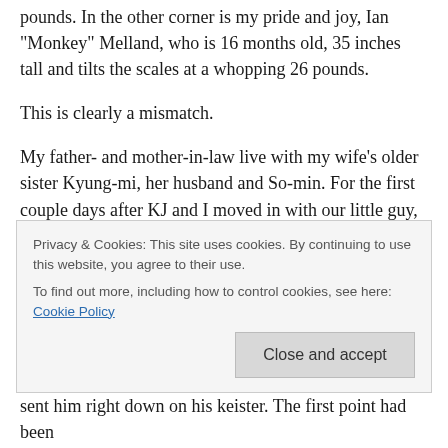pounds. In the other corner is my pride and joy, Ian “Monkey” Melland, who is 16 months old, 35 inches tall and tilts the scales at a whopping 26 pounds.
This is clearly a mismatch.
My father- and mother-in-law live with my wife’s older sister Kyung-mi, her husband and So-min. For the first couple days after KJ and I moved in with our little guy, So-min tolerated Ian fairly well. But then the novelty wore off and she began to resent the tiny interloper who kept touching her stuff, playing with her toys and – worst of all –
Privacy & Cookies: This site uses cookies. By continuing to use this website, you agree to their use.
To find out more, including how to control cookies, see here: Cookie Policy
sent him right down on his keister. The first point had been